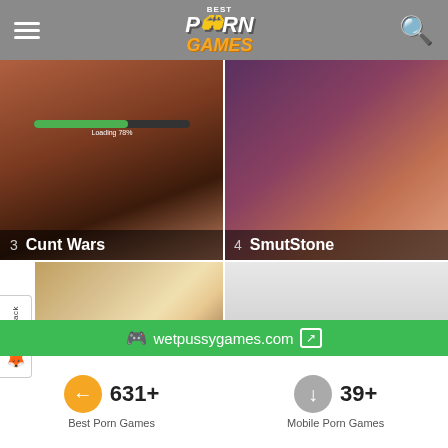BEST PORN GAMES
[Figure (screenshot): Game thumbnail for Cunt Wars, ranked #3]
[Figure (screenshot): Game thumbnail for SmutStone, ranked #4]
[Figure (screenshot): Game thumbnail for ComixHarem, ranked #5]
[Figure (screenshot): Game thumbnail for AndroidMO, ranked #6]
[Figure (screenshot): Partial game thumbnails at bottom row]
wetpussygames.com
631+ Best Porn Games
39+ Mobile Porn Games